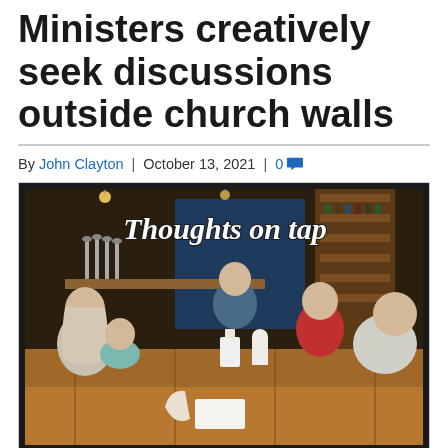Ministers creatively seek discussions outside church walls
By John Clayton | October 13, 2021 | 0
[Figure (photo): Group of people sitting around wooden tables in a bar/brewery setting. A decorative overlay text reads 'Thoughts on tap' in an ornate medieval font. The venue has beer taps, wood shelving with bottles, and pendant lighting.]